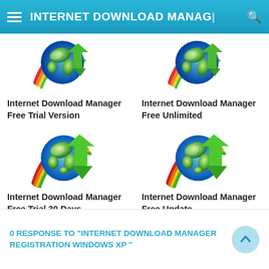INTERNET DOWNLOAD MANAGER
[Figure (logo): Internet Download Manager logo - globe with rainbow arc and green arrow]
Internet Download Manager Free Trial Version
[Figure (logo): Internet Download Manager logo - globe with rainbow arc and green arrow]
Internet Download Manager Free Unlimited
[Figure (logo): Internet Download Manager logo - globe with rainbow arc and green arrow]
Internet Download Manager Free Trial 30 Days
[Figure (logo): Internet Download Manager logo - globe with rainbow arc and green arrow]
Internet Download Manager Free Update
0 RESPONSE TO "INTERNET DOWNLOAD MANAGER REGISTRATION WINDOWS XP "